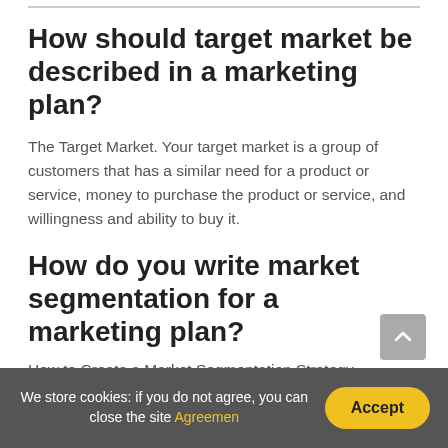How should target market be described in a marketing plan?
The Target Market. Your target market is a group of customers that has a similar need for a product or service, money to purchase the product or service, and willingness and ability to buy it.
How do you write market segmentation for a marketing plan?
How to Create a Market Segmentation Strategy
1. Analyze your existing customers. If you have existing
We store cookies: if you do not agree, you can close the site Agreemen